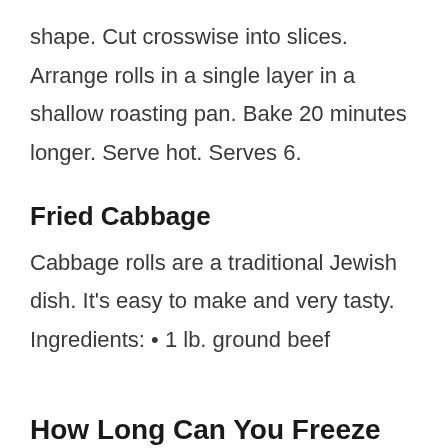shape. Cut crosswise into slices. Arrange rolls in a single layer in a shallow roasting pan. Bake 20 minutes longer. Serve hot. Serves 6.
Fried Cabbage
Cabbage rolls are a traditional Jewish dish. It's easy to make and very tasty. Ingredients: • 1 lb. ground beef
How Long Can You Freeze